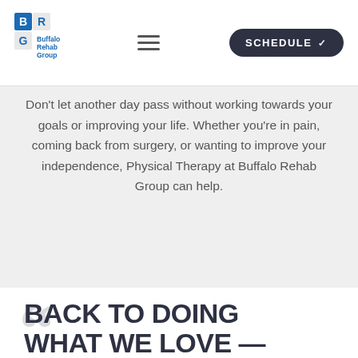[Figure (logo): Buffalo Rehab Group logo with blue block letters B, R, G in a grid and text 'Buffalo Rehab Group']
Don't let another day pass without working towards your goals or improving your life. Whether you're in pain, coming back from surgery, or wanting to improve your independence, Physical Therapy at Buffalo Rehab Group can help.
BACK TO DOING WHAT WE LOVE — PAIN-FREE!